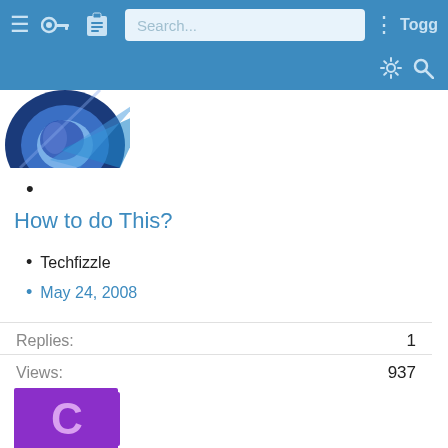Search... Togg
[Figure (logo): Partial circular logo with blue and green colors, cropped at top-left of content area]
•
How to do This?
Techfizzle
May 24, 2008
Replies: 1
Views: 937
May 24, 2008
Lak7
[Figure (other): Teal square avatar with letter L]
[Figure (other): Purple square avatar with letter C]